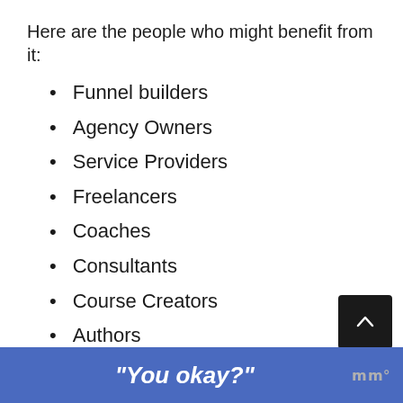Here are the people who might benefit from it:
Funnel builders
Agency Owners
Service Providers
Freelancers
Coaches
Consultants
Course Creators
Authors
Speakers
B2B Companies
“You okay?”